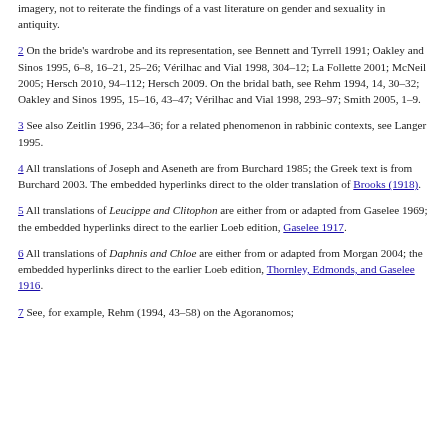imagery, not to reiterate the findings of a vast literature on gender and sexuality in antiquity.
2 On the bride’s wardrobe and its representation, see Bennett and Tyrrell 1991; Oakley and Sinos 1995, 6–8, 16–21, 25–26; Vérilhac and Vial 1998, 304–12; La Follette 2001; McNeil 2005; Hersch 2010, 94–112; Hersch 2009. On the bridal bath, see Rehm 1994, 14, 30–32; Oakley and Sinos 1995, 15–16, 43–47; Vérilhac and Vial 1998, 293–97; Smith 2005, 1–9.
3 See also Zeitlin 1996, 234–36; for a related phenomenon in rabbinic contexts, see Langer 1995.
4 All translations of Joseph and Aseneth are from Burchard 1985; the Greek text is from Burchard 2003. The embedded hyperlinks direct to the older translation of Brooks (1918).
5 All translations of Leucippe and Clitophon are either from or adapted from Gaselee 1969; the embedded hyperlinks direct to the earlier Loeb edition, Gaselee 1917.
6 All translations of Daphnis and Chloe are either from or adapted from Morgan 2004; the embedded hyperlinks direct to the earlier Loeb edition, Thornley, Edmonds, and Gaselee 1916.
7 See, for example, Rehm (1994, 43–58) on the Agoranomos;